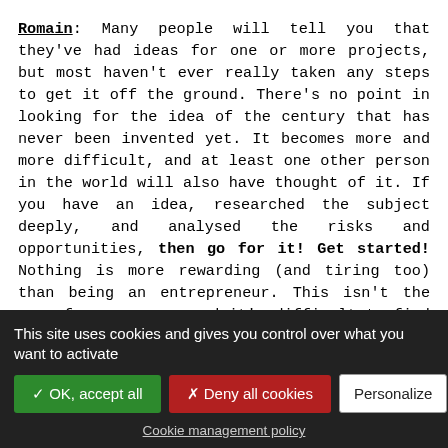Romain: Many people will tell you that they've had ideas for one or more projects, but most haven't ever really taken any steps to get it off the ground. There's no point in looking for the idea of the century that has never been invented yet. It becomes more and more difficult, and at least one other person in the world will also have thought of it. If you have an idea, researched the subject deeply, and analysed the risks and opportunities, then go for it! Get started! Nothing is more rewarding (and tiring too) than being an entrepreneur. This isn't the case for everyone, and it's difficult to find the right person, but I think that starting a project with two people allows you to progress better. You'll have several skills to add, be able to divide tasks, have a more critical mutual spirit, and provide support to each other.
This site uses cookies and gives you control over what you want to activate
✓ OK, accept all
✗ Deny all cookies
Personalize
Cookie management policy